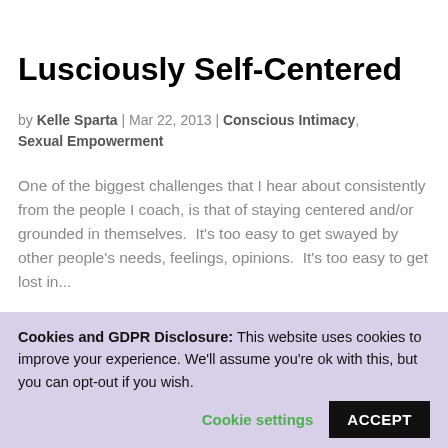Lusciously Self-Centered
by Kelle Sparta | Mar 22, 2013 | Conscious Intimacy, Sexual Empowerment
One of the biggest challenges that I hear about consistently from the people I coach, is that of staying centered and/or grounded in themselves.  It's too easy to get swayed by other people's needs, feelings, opinions.  It's too easy to get lost in...
[Figure (photo): Photo of a person (partial view of head with dark hair) on a light purple/lavender background]
Cookies and GDPR Disclosure: This website uses cookies to improve your experience. We'll assume you're ok with this, but you can opt-out if you wish. Cookie settings  ACCEPT